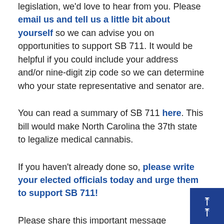legislation, we'd love to hear from you. Please email us and tell us a little bit about yourself so we can advise you on opportunities to support SB 711. It would be helpful if you could include your address and/or nine-digit zip code so we can determine who your state representative and senator are.
You can read a summary of SB 711 here. This bill would make North Carolina the 37th state to legalize medical cannabis.
If you haven't already done so, please write your elected officials today and urge them to support SB 711!
Please share this important message with your family and friends in North Carolina!
Read more